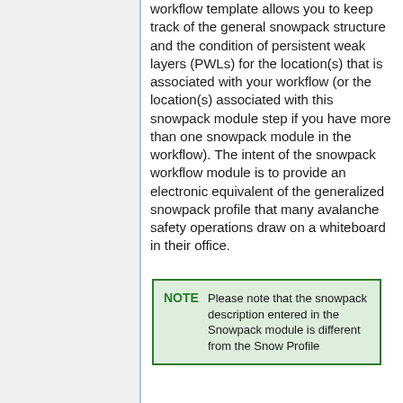workflow template allows you to keep track of the general snowpack structure and the condition of persistent weak layers (PWLs) for the location(s) that is associated with your workflow (or the location(s) associated with this snowpack module step if you have more than one snowpack module in the workflow). The intent of the snowpack workflow module is to provide an electronic equivalent of the generalized snowpack profile that many avalanche safety operations draw on a whiteboard in their office.
NOTE   Please note that the snowpack description entered in the Snowpack module is different from the Snow Profile